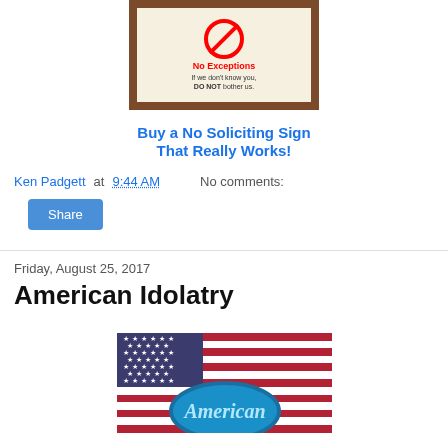[Figure (photo): A framed 'No Soliciting' sign with a red circle-slash symbol, red bold text 'No Exceptions', and black text 'If we don't know you, DO NOT bother us.' on a cream background with brown wooden frame.]
Buy a No Soliciting Sign That Really Works!
Ken Padgett at 9:44 AM    No comments:
Share
Friday, August 25, 2017
American Idolatry
[Figure (photo): American flag background with a blue circular badge showing 'American' in cursive script, resembling the American Idol logo.]